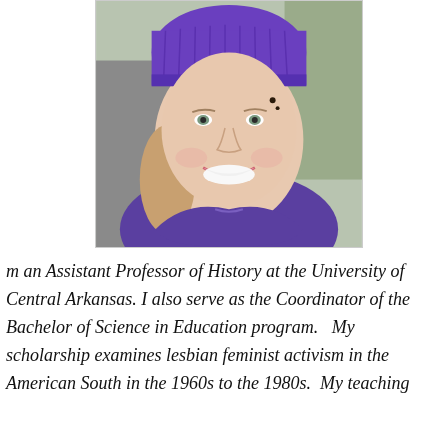[Figure (photo): Portrait photo of a woman smiling, wearing a purple knit beanie hat and a purple puffer jacket, photographed outdoors.]
m an Assistant Professor of History at the University of Central Arkansas. I also serve as the Coordinator of the Bachelor of Science in Education program.   My scholarship examines lesbian feminist activism in the American South in the 1960s to the 1980s.  My teaching